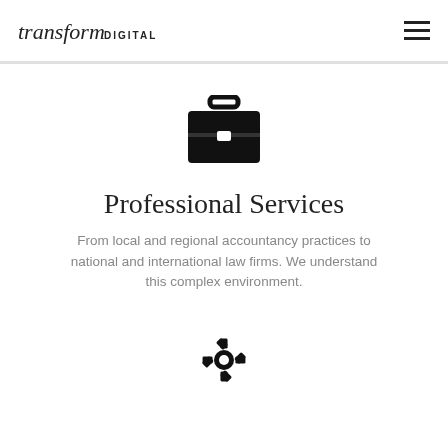transform DIGITAL
[Figure (illustration): Black briefcase icon]
Professional Services
From local and regional accountancy practices to national and international law firms. We understand this complex environment.
[Figure (illustration): Partial black gear/cog icon at bottom of page]